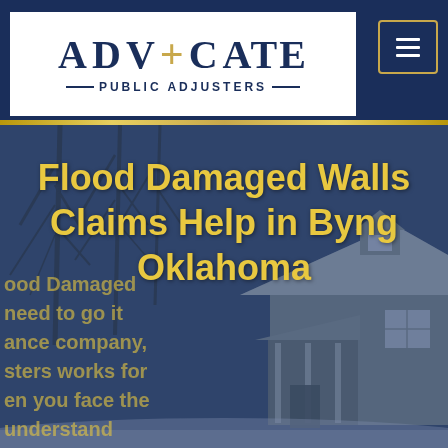ADVOCATE PUBLIC ADJUSTERS
Flood Damaged Walls Claims Help in Byng Oklahoma
[Figure (photo): Background photo of a snow-covered house with bare winter trees, overlaid with a dark navy-blue tint. Partial scrolling yellow text visible at bottom-left referencing Flood Damaged walls, insurance company, adjusters, and understanding.]
Flood Damaged
need to go it
ance company,
sters works for
en you face the
understand